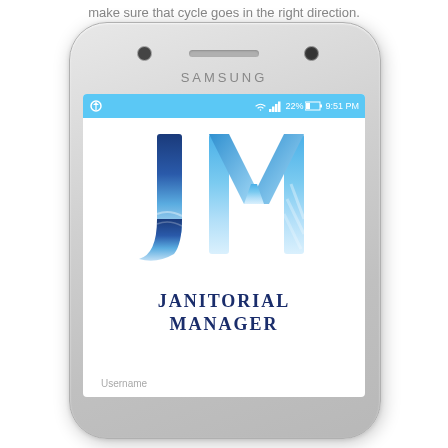make sure that cycle goes in the right direction.
[Figure (screenshot): Samsung smartphone displaying the Janitorial Manager app login screen. The phone is silver, showing the JM logo with blue gradient letters and 'Janitorial Manager' text. The status bar shows 22% battery, 9:51 PM. A Username field is visible at the bottom.]